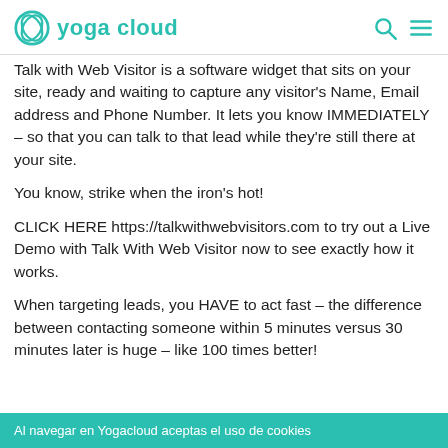yoga cloud
Talk with Web Visitor is a software widget that sits on your site, ready and waiting to capture any visitor's Name, Email address and Phone Number. It lets you know IMMEDIATELY – so that you can talk to that lead while they're still there at your site.
You know, strike when the iron's hot!
CLICK HERE https://talkwithwebvisitors.com to try out a Live Demo with Talk With Web Visitor now to see exactly how it works.
When targeting leads, you HAVE to act fast – the difference between contacting someone within 5 minutes versus 30 minutes later is huge – like 100 times better!
Al navegar en Yogacloud aceptas el uso de cookies